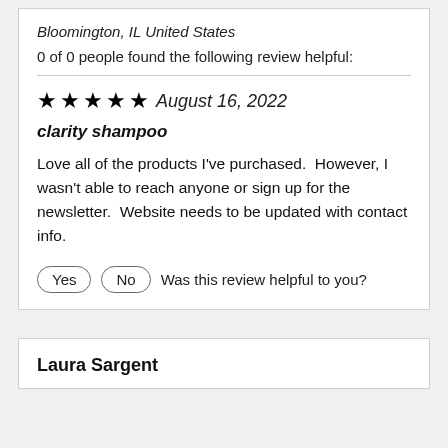Bloomington, IL United States
0 of 0 people found the following review helpful:
★★★★★ August 16, 2022
clarity shampoo
Love all of the products I've purchased.  However, I wasn't able to reach anyone or sign up for the newsletter.  Website needs to be updated with contact info.
Yes  No  Was this review helpful to you?
Laura Sargent